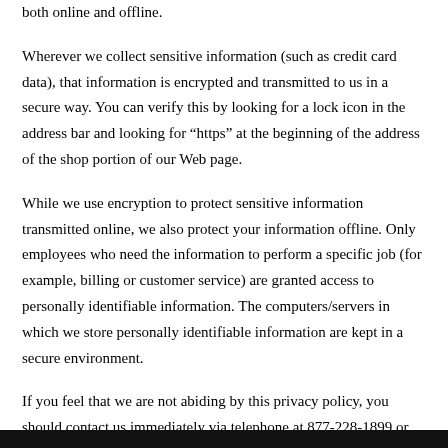both online and offline.
Wherever we collect sensitive information (such as credit card data), that information is encrypted and transmitted to us in a secure way. You can verify this by looking for a lock icon in the address bar and looking for “https” at the beginning of the address of the shop portion of our Web page.
While we use encryption to protect sensitive information transmitted online, we also protect your information offline. Only employees who need the information to perform a specific job (for example, billing or customer service) are granted access to personally identifiable information. The computers/servers in which we store personally identifiable information are kept in a secure environment.
If you feel that we are not abiding by this privacy policy, you should contact us immediately via telephone at 877-228-1899 or via email.